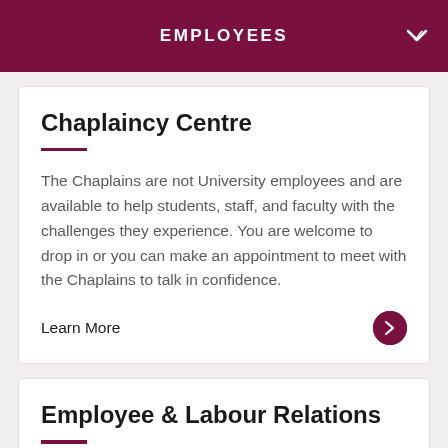EMPLOYEES
Chaplaincy Centre
The Chaplains are not University employees and are available to help students, staff, and faculty with the challenges they experience. You are welcome to drop in or you can make an appointment to meet with the Chaplains to talk in confidence.
Learn More
Employee & Labour Relations